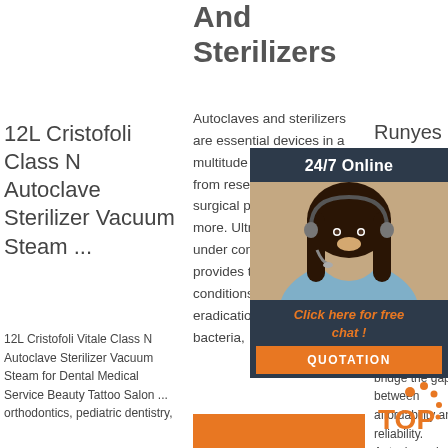And Sterilizers
Autoclaves and sterilizers are essential devices in a multitude of labs ranging from research, clinical, surgical preparation, and more. Ultra-high heat steam under controlled pressure provides the sterilization conditions required for eradication of pathogens, bacteria, …
12L Cristofoli Class N Autoclave Sterilizer Vacuum Steam ...
12L Cristofoli Vitale Class N Autoclave Sterilizer Vacuum Steam for Dental Medical Service Beauty Tattoo Salon ... orthodontics, pediatric dentistry,
Runyes - Auto...
The Ru... S Clas... is Aust... approv... Design... accord... Austra... Standa... 4815 a... Europe... Classifications. Description. We bridge the gap between affordability and reliability. Autoclaves hav...
[Figure (photo): Chat widget showing a woman with headset, dark background with '24/7 Online' text, orange 'Click here for free chat!' link, and orange QUOTATION button]
[Figure (logo): Orange TOP logo with dotted arc above text]